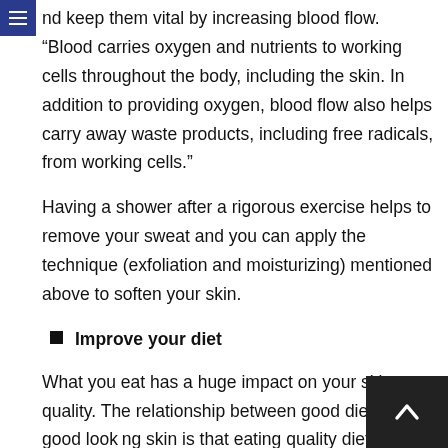☰
nd keep them vital by increasing blood flow. “Blood carries oxygen and nutrients to working cells throughout the body, including the skin. In addition to providing oxygen, blood flow also helps carry away waste products, including free radicals, from working cells.”
Having a shower after a rigorous exercise helps to remove your sweat and you can apply the technique (exfoliation and moisturizing) mentioned above to soften your skin.
Improve your diet
What you eat has a huge impact on your skin quality. The relationship between good diet and a good looking skin is that eating quality diet keeps you healthy – and your skin reflects how healthy you are.